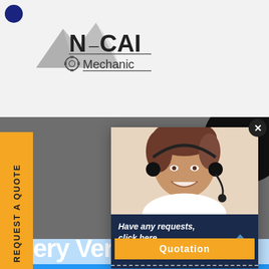[Figure (logo): N-CAI Mechanic logo with mountain silhouette and gear icon]
REQUEST A QUOTE
Very Very Small
Home  /  Very Very Small
[Figure (photo): Customer service representative smiling with headset]
Have any requests, click here.
Quotation